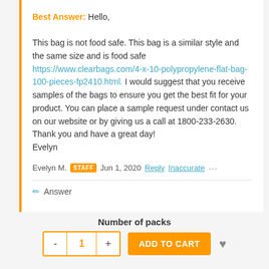Best Answer: Hello,

This bag is not food safe. This bag is a similar style and the same size and is food safe https://www.clearbags.com/4-x-10-polypropylene-flat-bag-100-pieces-fp2410.html. I would suggest that you receive samples of the bags to ensure you get the best fit for your product. You can place a sample request under contact us on our website or by giving us a call at 1800-233-2630.
Thank you and have a great day!
Evelyn
Evelyn M.  STAFF  Jun 1, 2020  Reply  Inaccurate  ...
Answer
Number of packs
- 1 + ADD TO CART ♥